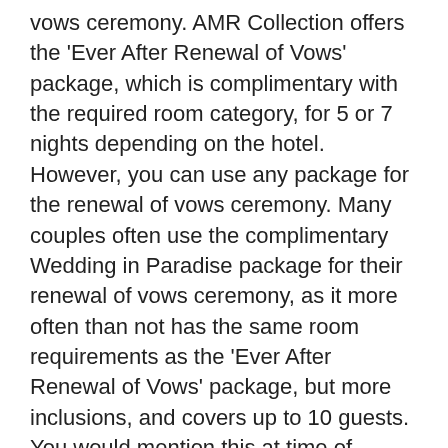vows ceremony. AMR Collection offers the 'Ever After Renewal of Vows' package, which is complimentary with the required room category, for 5 or 7 nights depending on the hotel. However, you can use any package for the renewal of vows ceremony. Many couples often use the complimentary Wedding in Paradise package for their renewal of vows ceremony, as it more often than not has the same room requirements as the 'Ever After Renewal of Vows' package, but more inclusions, and covers up to 10 guests. You would mention this at time of inquiry and on the wedding reservation form.
Q: Does AMR Collection offer same-sex weddings? A: AMR Collection offer same-sex weddings depending on the destination. Mexico & Costa Rica resorts offer legal and symbolic ceremonies in all properties. The